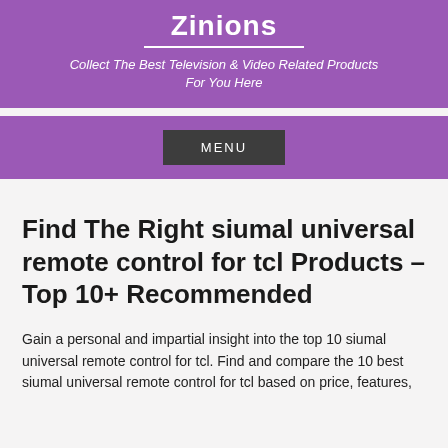Zinions
Collect The Best Television & Video Related Products For You Here
MENU
Find The Right siumal universal remote control for tcl Products – Top 10+ Recommended
Gain a personal and impartial insight into the top 10 siumal universal remote control for tcl. Find and compare the 10 best siumal universal remote control for tcl based on price, features,